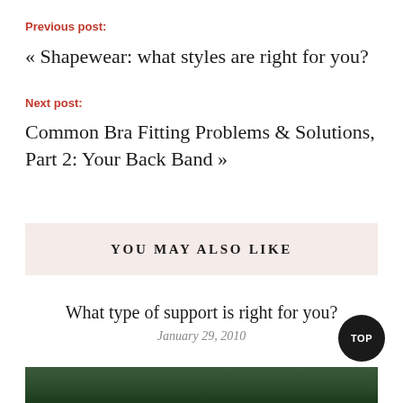Previous post:
« Shapewear: what styles are right for you?
Next post:
Common Bra Fitting Problems & Solutions, Part 2: Your Back Band »
YOU MAY ALSO LIKE
What type of support is right for you?
January 29, 2010
[Figure (photo): Partial photo of a person with light hair, visible at the bottom of the page, with a green foliage background]